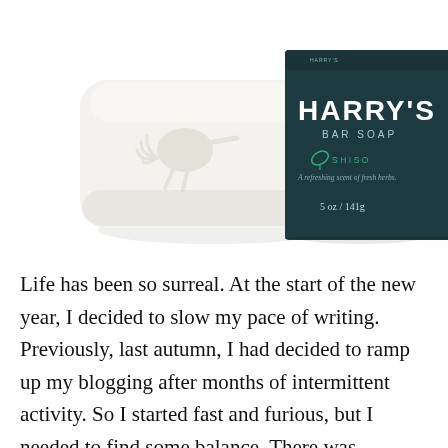[Figure (photo): Harry's Bar Soap product photo: a white rectangular bar of soap with an embossed bird (kiwi) logo on the left, and a dark teal/navy green product box on the right showing the Harry's logo, 'BAR SOAP' text, a leaf icon, 'SHISO', 'A refreshing scent of fresh herbs.', and '5 oz / 141g'. The right side of the box is bright green.]
Life has been so surreal. At the start of the new year, I decided to slow my pace of writing. Previously, last autumn, I had decided to ramp up my blogging after months of intermittent activity. So I started fast and furious, but I needed to find some balance. There was absolutely